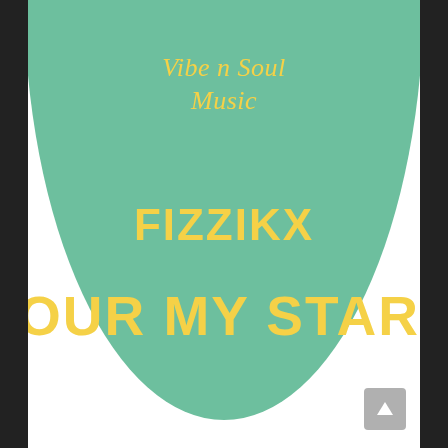[Figure (illustration): Music label artwork showing a large green semicircle/circle background with yellow italic text 'Vibe n Soul Music' at top, bold yellow text 'FIZZIKX' in the middle, and bold yellow text 'OUR MY STARLIGHT' (cropped) at the bottom. Dark sidebars on left and right. A scroll-up button in the bottom right corner.]
Vibe n Soul Music
FIZZIKX
OUR MY STARLIGHT